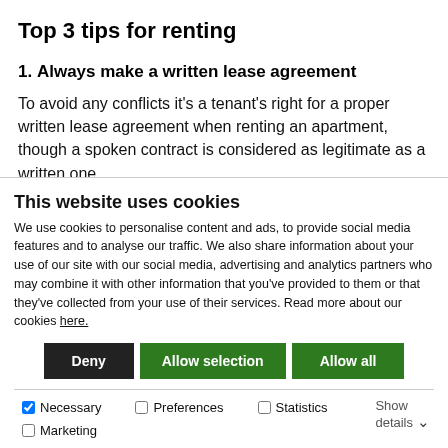Top 3 tips for renting
1. Always make a written lease agreement
To avoid any conflicts it’s a tenant’s right for a proper written lease agreement when renting an apartment, though a spoken contract is considered as legitimate as a written one.
The agreement should define who is the renter and…
This website uses cookies
We use cookies to personalise content and ads, to provide social media features and to analyse our traffic. We also share information about your use of our site with our social media, advertising and analytics partners who may combine it with other information that you’ve provided to them or that they’ve collected from your use of their services. Read more about our cookies here.
Deny
Allow selection
Allow all
Necessary  Preferences  Statistics  Marketing  Show details